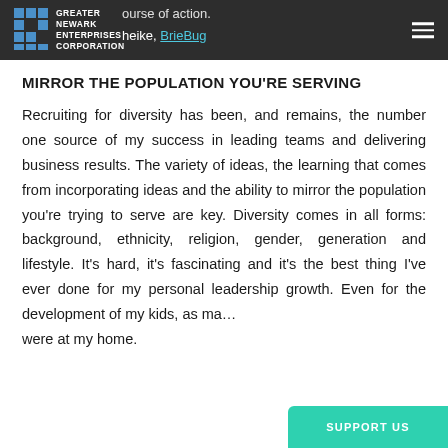Greater Newark Enterprises Corporation | course of action. | heike, BrieBug
MIRROR THE POPULATION YOU'RE SERVING
Recruiting for diversity has been, and remains, the number one source of my success in leading teams and delivering business results. The variety of ideas, the learning that comes from incorporating ideas and the ability to mirror the population you're trying to serve are key. Diversity comes in all forms: background, ethnicity, religion, gender, generation and lifestyle. It's hard, it's fascinating and it's the best thing I've ever done for my personal leadership growth. Even for the development of my kids, as ma… were at my home.